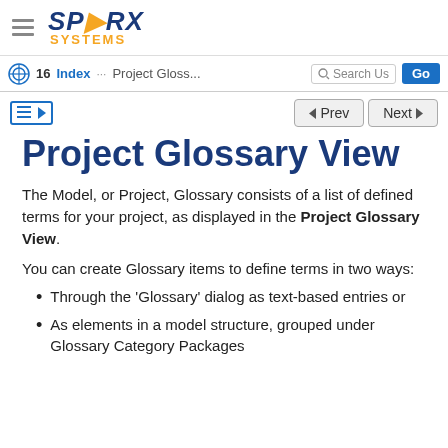SPARX SYSTEMS
16 Index ... Project Gloss... Search Us... Go
Project Glossary View
The Model, or Project, Glossary consists of a list of defined terms for your project, as displayed in the Project Glossary View.
You can create Glossary items to define terms in two ways:
Through the 'Glossary' dialog as text-based entries or
As elements in a model structure, grouped under Glossary Category Packages